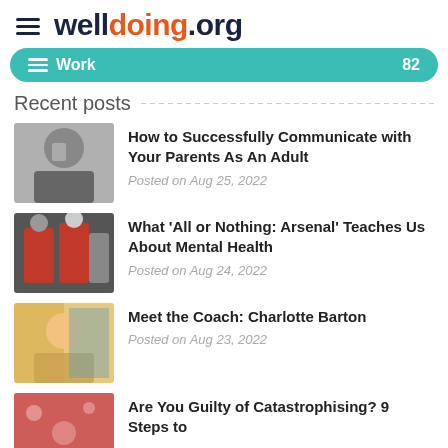welldoing.org
Work  82
Recent posts
[Figure (photo): Person holding a cup, black and white photo]
How to Successfully Communicate with Your Parents As An Adult
Posted on Aug 25, 2022
[Figure (photo): Black and white photo of football players]
What 'All or Nothing: Arsenal' Teaches Us About Mental Health
Posted on Aug 24, 2022
[Figure (photo): Woman smiling in front of colorful background]
Meet the Coach: Charlotte Barton
Posted on Aug 23, 2022
[Figure (photo): Red/pink abstract image thumbnail]
Are You Guilty of Catastrophising? 9 Steps to ...